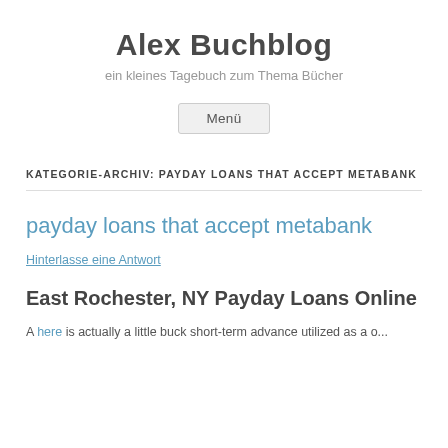Alex Buchblog
ein kleines Tagebuch zum Thema Bücher
Menü
KATEGORIE-ARCHIV: PAYDAY LOANS THAT ACCEPT METABANK
payday loans that accept metabank
Hinterlasse eine Antwort
East Rochester, NY Payday Loans Online
A here is actually a little buck short-term advance utilized as a...